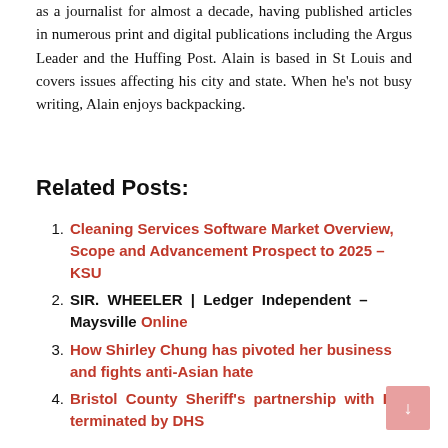as a journalist for almost a decade, having published articles in numerous print and digital publications including the Argus Leader and the Huffing Post. Alain is based in St Louis and covers issues affecting his city and state. When he's not busy writing, Alain enjoys backpacking.
Related Posts:
Cleaning Services Software Market Overview, Scope and Advancement Prospect to 2025 – KSU
SIR. WHEELER | Ledger Independent – Maysville Online
How Shirley Chung has pivoted her business and fights anti-Asian hate
Bristol County Sheriff's partnership with ICE terminated by DHS